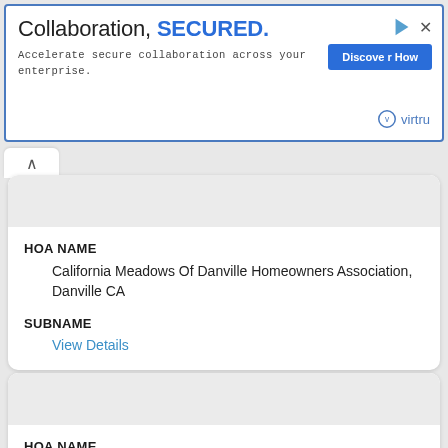[Figure (screenshot): Advertisement banner for Virtru: 'Collaboration, SECURED.' with tagline 'Accelerate secure collaboration across your enterprise.' and a 'Discover How' button.]
HOA NAME
California Meadows Of Danville Homeowners Association, Danville CA
SUBNAME
View Details
HOA NAME
California Reflections Homeowners Association, Danville CA
SUBNAME
View Details